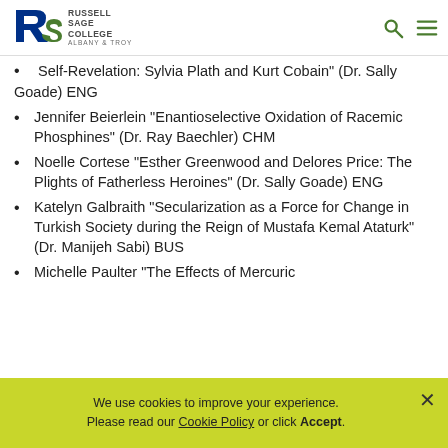Russell Sage College Albany & Troy
Self-Revelation: Sylvia Plath and Kurt Cobain" (Dr. Sally Goade) ENG
Jennifer Beierlein "Enantioselective Oxidation of Racemic Phosphines" (Dr. Ray Baechler) CHM
Noelle Cortese "Esther Greenwood and Delores Price: The Plights of Fatherless Heroines" (Dr. Sally Goade) ENG
Katelyn Galbraith "Secularization as a Force for Change in Turkish Society during the Reign of Mustafa Kemal Ataturk" (Dr. Manijeh Sabi) BUS
Michelle Paulter "The Effects of Mercuric
We use cookies to improve your experience. Please read our Cookie Policy or click Accept.